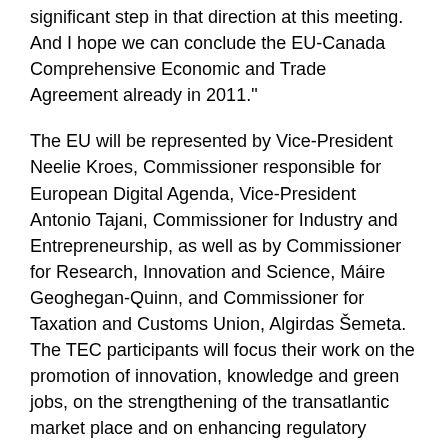significant step in that direction at this meeting. And I hope we can conclude the EU-Canada Comprehensive Economic and Trade Agreement already in 2011."
The EU will be represented by Vice-President Neelie Kroes, Commissioner responsible for European Digital Agenda, Vice-President Antonio Tajani, Commissioner for Industry and Entrepreneurship, as well as by Commissioner for Research, Innovation and Science, Máire Geoghegan-Quinn, and Commissioner for Taxation and Customs Union, Algirdas Šemeta. The TEC participants will focus their work on the promotion of innovation, knowledge and green jobs, on the strengthening of the transatlantic market place and on enhancing regulatory cooperation to boost trade and investment. Among the specific issues to be discussed are innovation, e-health, secure trade, chemicals and e-mobility.
Background
The Transatlantic Economic Council (TEC)
The TEC was set up in 2007 to guide and stimulate transatlantic economic convergence. The new co-chairs of the TEC, Commissioner De Gucht, and US Deputy National Security Adviser for international economic affairs, Michael Froman, decided in early